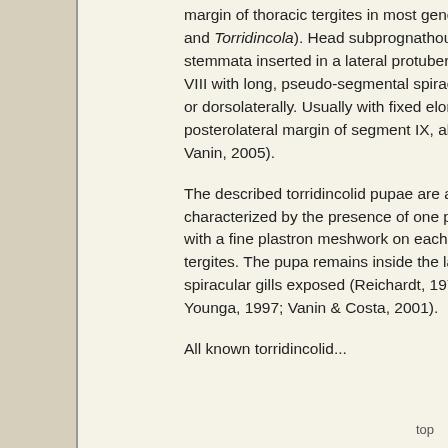margin of thoracic tergites in most genera (absent in Claudiella, Iapir and Torridincola). Head subprognathous or prognathous, with 3–4 stemmata inserted in a lateral protuberance. Abdominal segments I–VIII with long, pseudo-segmental spiracular gills, which insert laterally or dorsolaterally. Usually with fixed elongate urogomphi present at posterolateral margin of segment IX, absent in Torridincola (Beutel & Vanin, 2005).
The described torridincolid pupae are adecticous, exarate, characterized by the presence of one pair of spiracular gills covered with a fine plastron meshwork on each side of the first two abdominal tergites. The pupa remains inside the last larval exuvia, with the spiracular gills exposed (Reichardt, 1973; Costa et al., 1988; Endrödy-Younga, 1997; Vanin & Costa, 2001).
All known torridincolid...
top